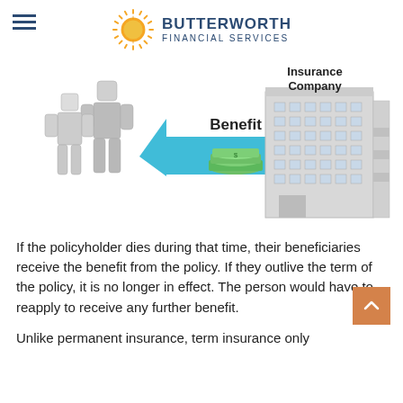BUTTERWORTH FINANCIAL SERVICES
[Figure (infographic): Infographic showing insurance benefit flow: two 3D figures on the left, a cyan arrow pointing left labeled 'Benefit' with cash/money illustration, and a 3D office building on the right labeled 'Insurance Company']
If the policyholder dies during that time, their beneficiaries receive the benefit from the policy. If they outlive the term of the policy, it is no longer in effect. The person would have to reapply to receive any further benefit.
Unlike permanent insurance, term insurance only